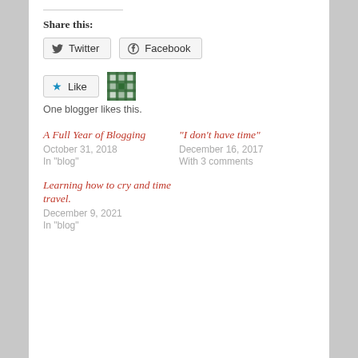Share this:
[Figure (other): Twitter and Facebook share buttons]
[Figure (other): Like button with star icon and pixel avatar gravatar]
One blogger likes this.
A Full Year of Blogging
October 31, 2018
In "blog"
“I don’t have time”
December 16, 2017
With 3 comments
Learning how to cry and time travel.
December 9, 2021
In "blog"